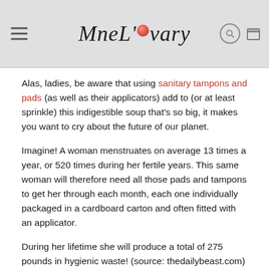Mne L'ovary — website header with logo, menu, search and bag icons
Alas, ladies, be aware that using sanitary tampons and pads (as well as their applicators) add to (or at least sprinkle) this indigestible soup that's so big, it makes you want to cry about the future of our planet.
Imagine! A woman menstruates on average 13 times a year, or 520 times during her fertile years. This same woman will therefore need all those pads and tampons to get her through each month, each one individually packaged in a cardboard carton and often fitted with an applicator.
During her lifetime she will produce a total of 275 pounds in hygienic waste! (source: thedailybeast.com)
If you multiply that by the number of women who menstruate on earth (nearly 2.24 billion), that gives us (hold on to your hats)...